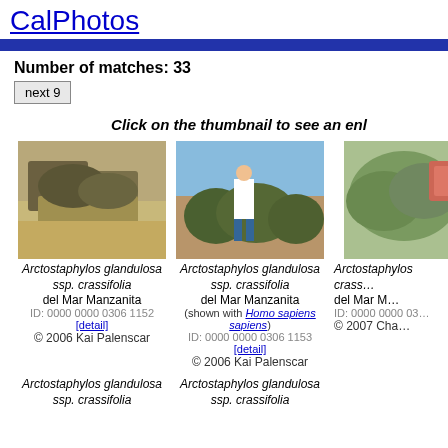CalPhotos
Number of matches: 33
next 9
Click on the thumbnail to see an enlarged image
[Figure (photo): Photo of Arctostaphylos glandulosa ssp. crassifolia plant on ground]
Arctostaphylos glandulosa ssp. crassifolia
del Mar Manzanita
ID: 0000 0000 0306 1152 [detail]
© 2006 Kai Palenscar
[Figure (photo): Photo of Arctostaphylos glandulosa ssp. crassifolia shown with person standing next to shrub]
Arctostaphylos glandulosa ssp. crassifolia
del Mar Manzanita
(shown with Homo sapiens sapiens)
ID: 0000 0000 0306 1153 [detail]
© 2006 Kai Palenscar
[Figure (photo): Partial photo of Arctostaphylos plant]
Arctostaphylos
cras...
del Mar M...
ID: 0000 0000 03...
© 2007 Cha...
Arctostaphylos glandulosa ssp. crassifolia
Arctostaphylos glandulosa ssp. crassifolia